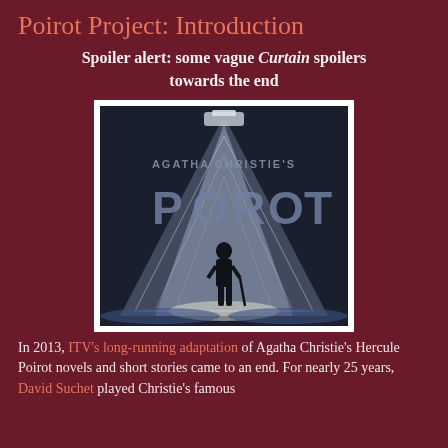Poirot Project: Introduction
Spoiler alert: some vague Curtain spoilers towards the end
[Figure (photo): Title card from ITV's Agatha Christie's Poirot TV series showing silhouette of a man with a cane standing under a spotlight forming a triangular beam, with the words 'AGATHA CHRISTIE'S POIROT' in large grey letters against a dark blue background.]
In 2013, ITV's long-running adaptation of Agatha Christie's Hercule Poirot novels and short stories came to an end. For nearly 25 years, David Suchet played Christie's famous...